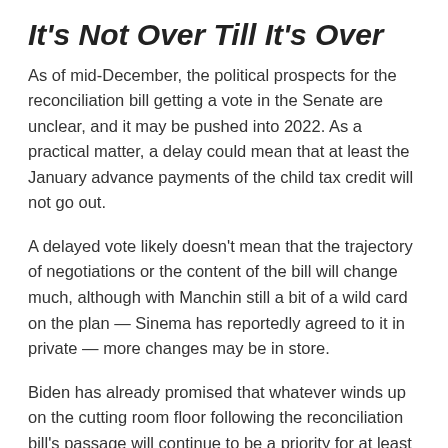It's Not Over Till It's Over
As of mid-December, the political prospects for the reconciliation bill getting a vote in the Senate are unclear, and it may be pushed into 2022. As a practical matter, a delay could mean that at least the January advance payments of the child tax credit will not go out.
A delayed vote likely doesn't mean that the trajectory of negotiations or the content of the bill will change much, although with Manchin still a bit of a wild card on the plan — Sinema has reportedly agreed to it in private — more changes may be in store.
Biden has already promised that whatever winds up on the cutting room floor following the reconciliation bill's passage will continue to be a priority for at least the next three years.